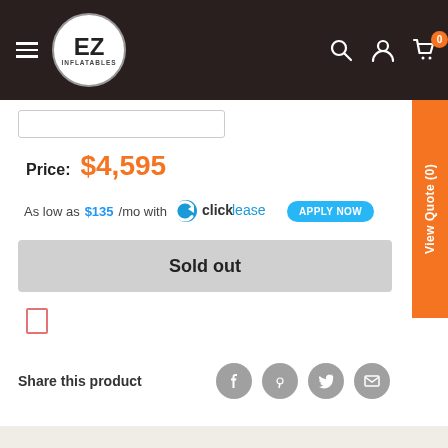[Figure (logo): EZ Inflatables logo in circular badge with dark header navigation bar including hamburger menu, search, account, and cart icons]
View Quote (0)
Price: $4,595
As low as $135/mo with clicklease APPLY NOW
Sold out
Share this product